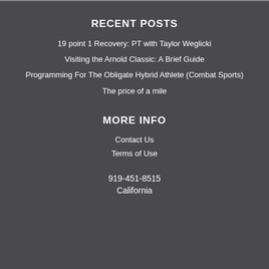RECENT POSTS
19 point 1 Recovery: PT with Taylor Weglicki
Visiting the Arnold Classic: A Brief Guide
Programming For The Obligate Hybrid Athlete (Combat Sports)
The price of a mile
MORE INFO
Contact Us
Terms of Use
919-451-8515
California